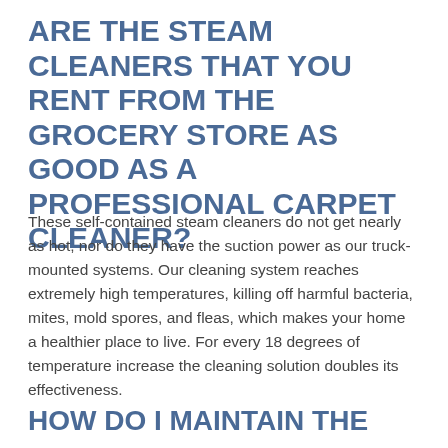ARE THE STEAM CLEANERS THAT YOU RENT FROM THE GROCERY STORE AS GOOD AS A PROFESSIONAL CARPET CLEANER?
These self-contained steam cleaners do not get nearly as hot, nor do they have the suction power as our truck-mounted systems. Our cleaning system reaches extremely high temperatures, killing off harmful bacteria, mites, mold spores, and fleas, which makes your home a healthier place to live. For every 18 degrees of temperature increase the cleaning solution doubles its effectiveness.
HOW DO I MAINTAIN THE